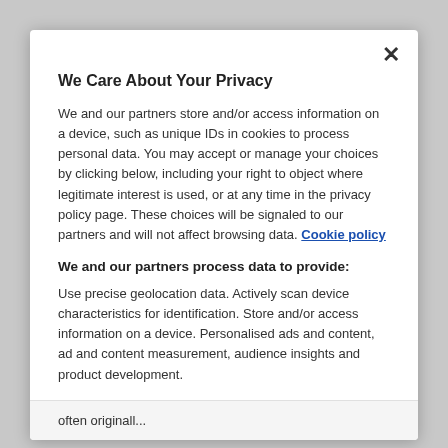We Care About Your Privacy
We and our partners store and/or access information on a device, such as unique IDs in cookies to process personal data. You may accept or manage your choices by clicking below, including your right to object where legitimate interest is used, or at any time in the privacy policy page. These choices will be signaled to our partners and will not affect browsing data. Cookie policy
We and our partners process data to provide:
Use precise geolocation data. Actively scan device characteristics for identification. Store and/or access information on a device. Personalised ads and content, ad and content measurement, audience insights and product development.
List of Partners (vendors)
often originall...